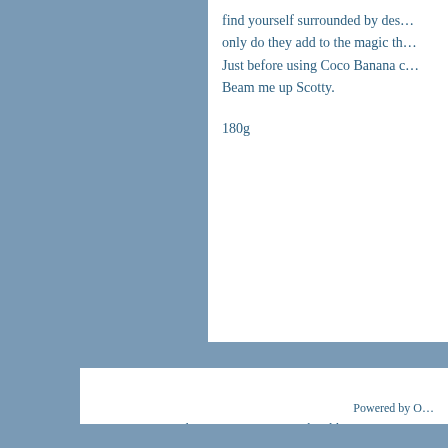find yourself surrounded by des… only do they add to the magic th… Just before using Coco Banana c… Beam me up Scotty.
180g
BL Cosmetics Ltd, Dainton Business Park, Alders Way, Yalbert… Lovely Bubbly are UK and European registered trademarks. Al…
Company Registered in England Number 3986977. Registered… Gardens Road Torquay, TQ1 1EG.
VAT Number 754 8730 02
Powered by O…